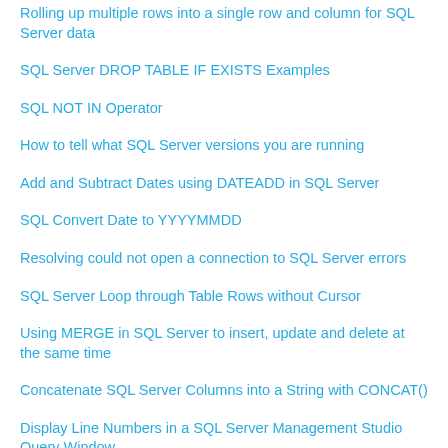Rolling up multiple rows into a single row and column for SQL Server data
SQL Server DROP TABLE IF EXISTS Examples
SQL NOT IN Operator
How to tell what SQL Server versions you are running
Add and Subtract Dates using DATEADD in SQL Server
SQL Convert Date to YYYYMMDD
Resolving could not open a connection to SQL Server errors
SQL Server Loop through Table Rows without Cursor
Using MERGE in SQL Server to insert, update and delete at the same time
Concatenate SQL Server Columns into a String with CONCAT()
Display Line Numbers in a SQL Server Management Studio Query Window
SQL Server Row Count for all Tables in a Database
Ways to compare and find differences for SQL Server tables and